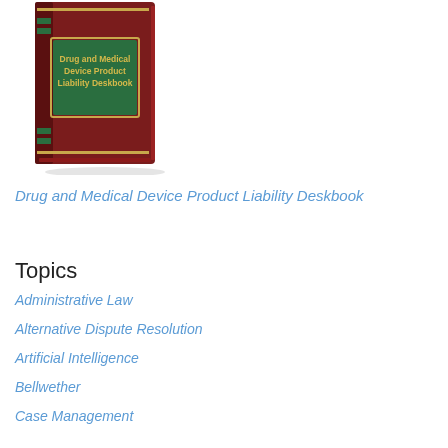[Figure (photo): Photo of a dark maroon hardcover book titled 'Drug and Medical Device Product Liability Deskbook' with a green label on the spine/cover and gold trim]
Drug and Medical Device Product Liability Deskbook
Topics
Administrative Law
Alternative Dispute Resolution
Artificial Intelligence
Bellwether
Case Management